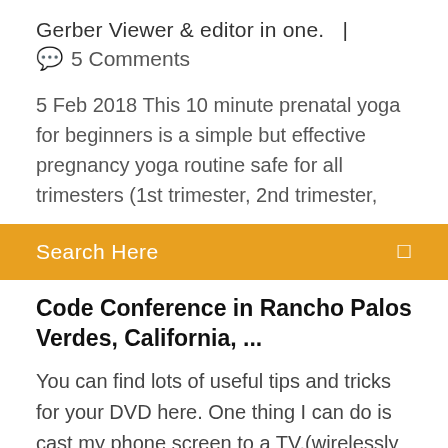Gerber Viewer & editor in one.  |
💬  5 Comments
5 Feb 2018 This 10 minute prenatal yoga for beginners is a simple but effective pregnancy yoga routine safe for all trimesters (1st trimester, 2nd trimester,
Search Here
Code Conference in Rancho Palos Verdes, California, ...
You can find lots of useful tips and tricks for your DVD here. One thing I can do is cast my phone screen to a TV,(wirelessly or wired) and then use this app to make my phone a third monitor for my pc. This section needs additional citations for verification. Please help improve this article by adding citations to reliable sources. For example, Virtua Fighter used one CPU for each character, while Nights used one CPU for 3D environments and the other for 2D objects. The Visual Display